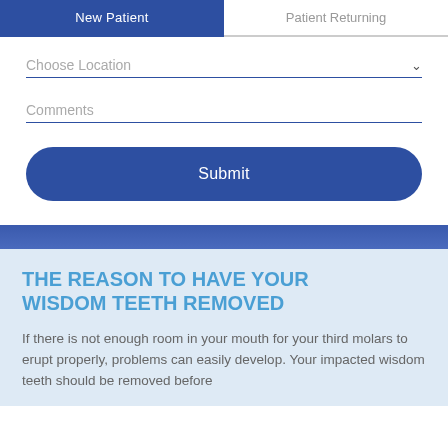[Figure (screenshot): Tab bar with 'New Patient' (active, blue background) and 'Patient Returning' tabs]
Choose Location
Comments
Submit
THE REASON TO HAVE YOUR WISDOM TEETH REMOVED
If there is not enough room in your mouth for your third molars to erupt properly, problems can easily develop. Your impacted wisdom teeth should be removed before